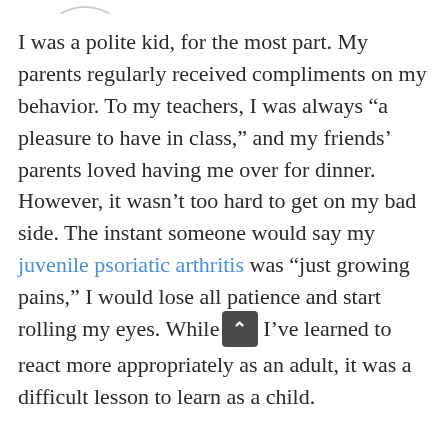I was a polite kid, for the most part. My parents regularly received compliments on my behavior. To my teachers, I was always “a pleasure to have in class,” and my friends’ parents loved having me over for dinner. However, it wasn’t too hard to get on my bad side. The instant someone would say my juvenile psoriatic arthritis was “just growing pains,” I would lose all patience and start rolling my eyes. While I’ve learned to react more appropriately as an adult, it was a difficult lesson to learn as a child.